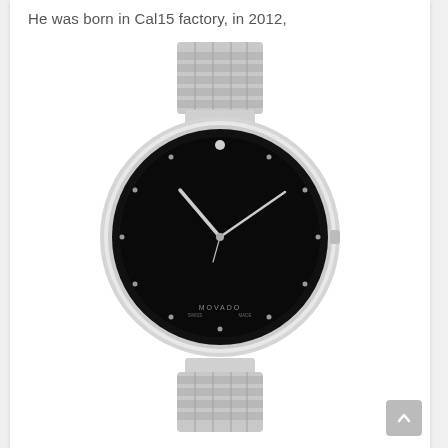He was born in Cal15 factory, in 2012,
[Figure (photo): A Movado museum watch with a stainless steel bracelet and black dial with diamond hour markers and the signature single dot at 12 o'clock. The dial reads MOVADO. The watch has silver-tone hands.]